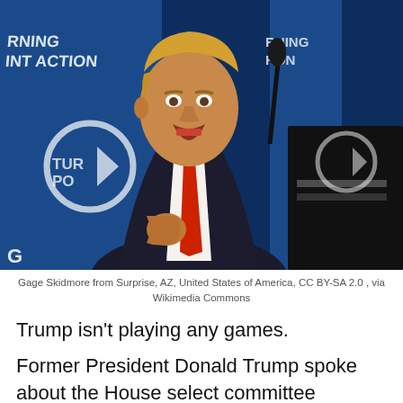[Figure (photo): Former President Donald Trump speaking at a podium with microphone, wearing a dark suit and red tie, in front of blue Turning Point Action backdrop signage.]
Gage Skidmore from Surprise, AZ, United States of America, CC BY-SA 2.0 , via Wikimedia Commons
Trump isn’t playing any games.
Former President Donald Trump spoke about the House select committee hearings about the Jan. 6,